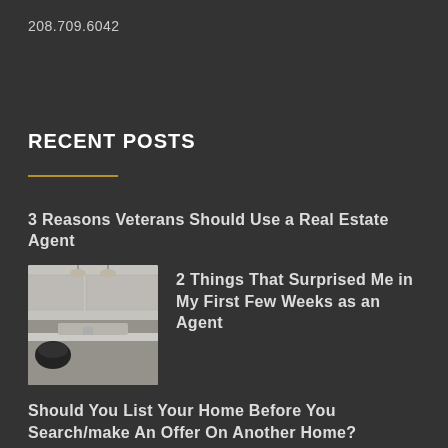208.709.6042
RECENT POSTS
3 Reasons Veterans Should Use a Real Estate Agent
[Figure (photo): Kitchen interior photo showing white countertops and pendant lights]
2 Things That Surprised Me in My First Few Weeks as an Agent
Should You List Your Home Before You Search/make An Offer On Another Home?